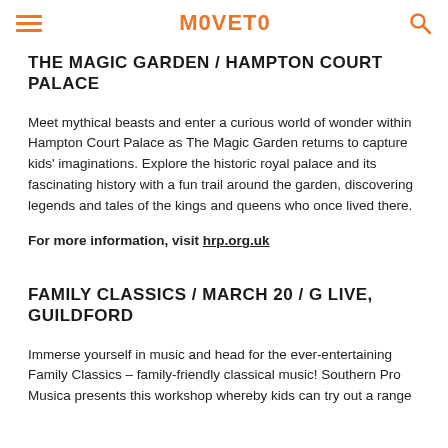MOVETO
THE MAGIC GARDEN / HAMPTON COURT PALACE
Meet mythical beasts and enter a curious world of wonder within Hampton Court Palace as The Magic Garden returns to capture kids' imaginations. Explore the historic royal palace and its fascinating history with a fun trail around the garden, discovering legends and tales of the kings and queens who once lived there.
For more information, visit hrp.org.uk
FAMILY CLASSICS / MARCH 20 / G LIVE, GUILDFORD
Immerse yourself in music and head for the ever-entertaining Family Classics – family-friendly classical music! Southern Pro Musica presents this workshop whereby kids can try out a range